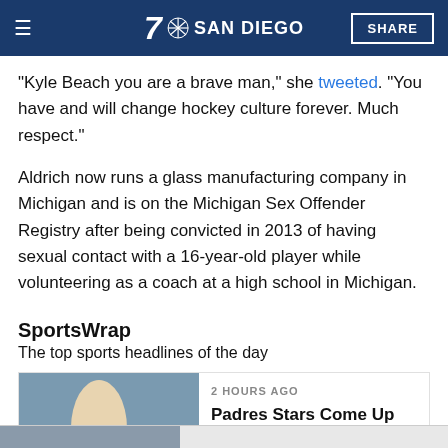7 NBC SAN DIEGO | SHARE
"Kyle Beach you are a brave man," she tweeted. "You have and will change hockey culture forever. Much respect."
Aldrich now runs a glass manufacturing company in Michigan and is on the Michigan Sex Offender Registry after being convicted in 2013 of having sexual contact with a 16-year-old player while volunteering as a coach at a high school in Michigan.
SportsWrap
The top sports headlines of the day
[Figure (photo): Baseball player in Padres uniform on field]
2 HOURS AGO
Padres Stars Come Up Huge to Snap Losing Skid vs. Nationals